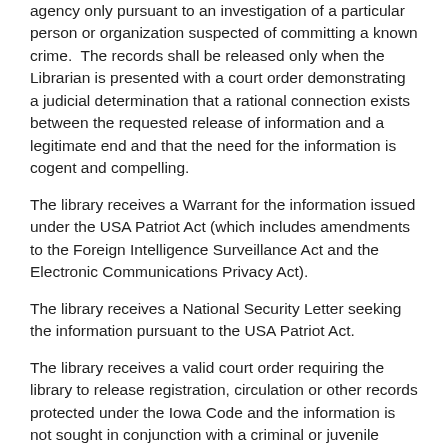agency only pursuant to an investigation of a particular person or organization suspected of committing a known crime.  The records shall be released only when the Librarian is presented with a court order demonstrating a judicial determination that a rational connection exists between the requested release of information and a legitimate end and that the need for the information is cogent and compelling.
The library receives a Warrant for the information issued under the USA Patriot Act (which includes amendments to the Foreign Intelligence Surveillance Act and the Electronic Communications Privacy Act).
The library receives a National Security Letter seeking the information pursuant to the USA Patriot Act.
The library receives a valid court order requiring the library to release registration, circulation or other records protected under the Iowa Code and the information is not sought in conjunction with a criminal or juvenile justice investigation.
Acceptable Behavior
Library patrons and visitors shall conduct themselves at all times with respect and courtesy towards library staff and other patrons.  Proper conduct includes abiding by the following